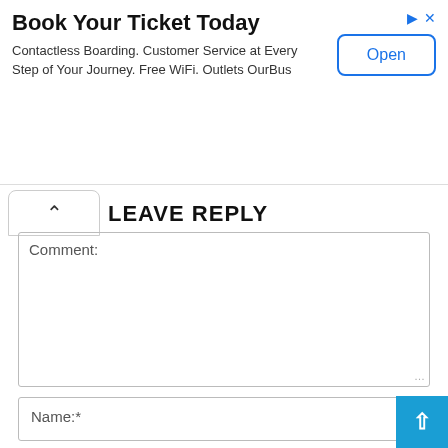[Figure (screenshot): Advertisement banner for OurBus ticket booking. Title: 'Book Your Ticket Today'. Body text: 'Contactless Boarding. Customer Service at Every Step of Your Journey. Free WiFi. Outlets OurBus'. Button on right: 'Open' with blue border. Icons for share and close in top right.]
LEAVE REPLY
Comment:
Name:*
Email:*
Website: